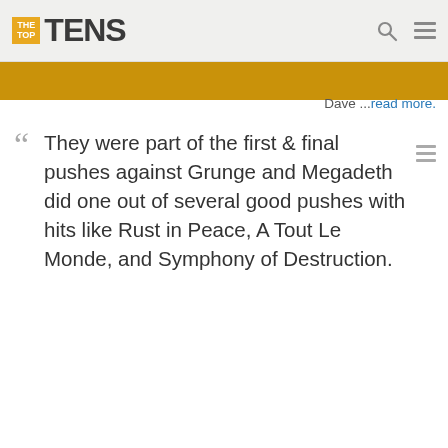TheTopTens
Dave ...read more.
They were part of the first & final pushes against Grunge and Megadeth did one out of several good pushes with hits like Rust in Peace, A Tout Le Monde, and Symphony of Destruction.